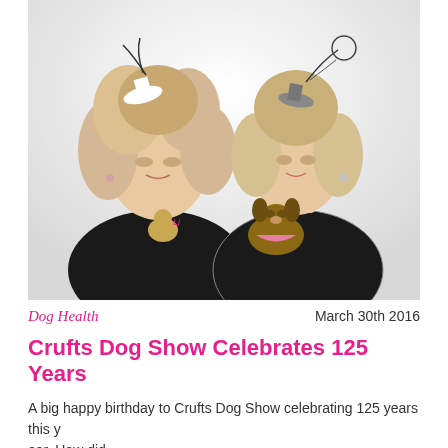[Figure (photo): Two blonde women wearing black clothing with dog graphics and small decorative hats/fascinators, holding a small chihuahua dog. White background studio photo.]
Dog Health
March 30th 2016
Crufts Dog Show Celebrates 125 Years
A big happy birthday to Crufts Dog Show celebrating 125 years this year. How did ...